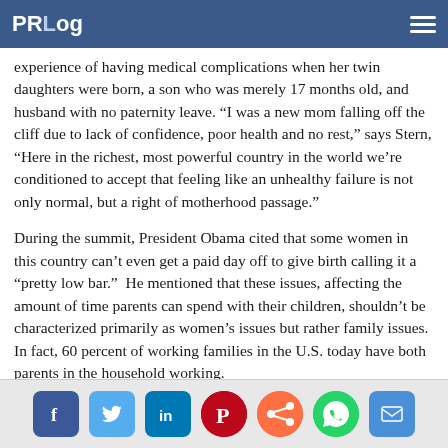PRLog
experience of having medical complications when her twin daughters were born, a son who was merely 17 months old, and husband with no paternity leave. “I was a new mom falling off the cliff due to lack of confidence, poor health and no rest,” says Stern, “Here in the richest, most powerful country in the world we’re conditioned to accept that feeling like an unhealthy failure is not only normal, but a right of motherhood passage.”
During the summit, President Obama cited that some women in this country can’t even get a paid day off to give birth calling it a “pretty low bar.”  He mentioned that these issues, affecting the amount of time parents can spend with their children, shouldn’t be characterized primarily as women’s issues but rather family issues.  In fact, 60 percent of working families in the U.S. today have both parents in the household working.
“What struck me the most about the summit was the seriousness in all the participants,” Stern adds, “Usually a one day conference is focused on motivation and broad strokes. The Working Families Summit brought together Americans focused on affecting change and provided specific resources.”
Social share icons: Facebook, Twitter, LinkedIn, Pinterest, Share, WhatsApp, Email